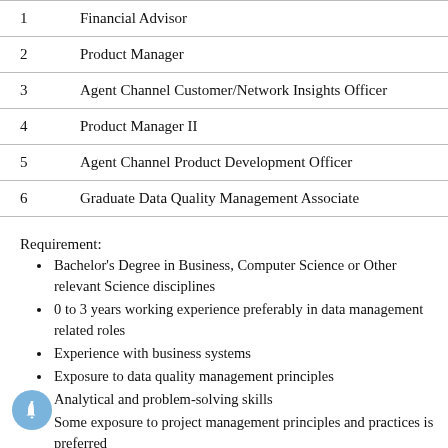| # | Role |
| --- | --- |
| 1 | Financial Advisor |
| 2 | Product Manager |
| 3 | Agent Channel Customer/Network Insights Officer |
| 4 | Product Manager II |
| 5 | Agent Channel Product Development Officer |
| 6 | Graduate Data Quality Management Associate |
Requirement:
Bachelor's Degree in Business, Computer Science or Other relevant Science disciplines
0 to 3 years working experience preferably in data management related roles
Experience with business systems
Exposure to data quality management principles
Analytical and problem-solving skills
Some exposure to project management principles and practices is preferred
Strong interpersonal and communication skills
Strong conflict management skills